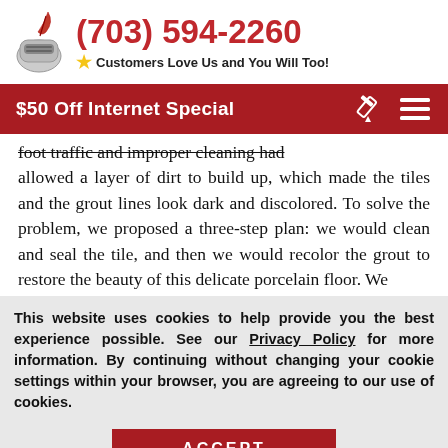(703) 594-2260 — Customers Love Us and You Will Too!
$50 Off Internet Special
foot traffic and improper cleaning had allowed a layer of dirt to build up, which made the tiles and the grout lines look dark and discolored. To solve the problem, we proposed a three-step plan: we would clean and seal the tile, and then we would recolor the grout to restore the beauty of this delicate porcelain floor. We
This website uses cookies to help provide you the best experience possible. See our Privacy Policy for more information. By continuing without changing your cookie settings within your browser, you are agreeing to our use of cookies.
ACCEPT